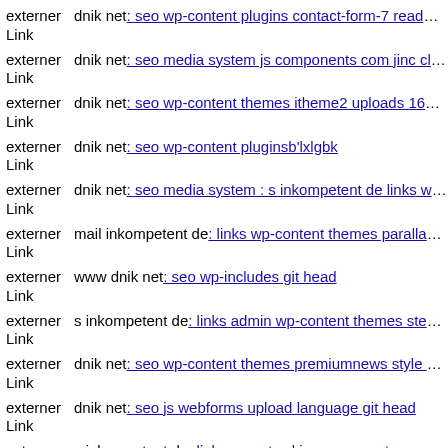externer Link dnik net: seo wp-content plugins contact-form-7 readme txt
externer Link dnik net: seo media system js components com jinc classes
externer Link dnik net: seo wp-content themes itheme2 uploads 16441924-
externer Link dnik net: seo wp-content pluginsb'lxlgbk
externer Link dnik net: seo media system : s inkompetent de links wp-con
externer Link mail inkompetent de: links wp-content themes parallax mai
externer Link www dnik net: seo wp-includes git head
externer Link s inkompetent de: links admin wp-content themes stendhal
externer Link dnik net: seo wp-content themes premiumnews style css
externer Link dnik net: seo js webforms upload language git head
externer Link s inkompetent de: links app etc skin components com hdflv